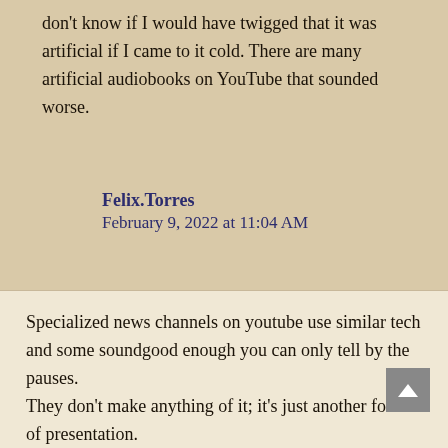don't know if I would have twigged that it was artificial if I came to it cold. There are many artificial audiobooks on YouTube that sounded worse.
Felix.Torres
February 9, 2022 at 11:04 AM
Specialized news channels on youtube use similar tech and some soundgood enough you can only tell by the pauses.
They don't make anything of it; it's just another form of presentation.
The tech isn't there yet but at some point TTS...